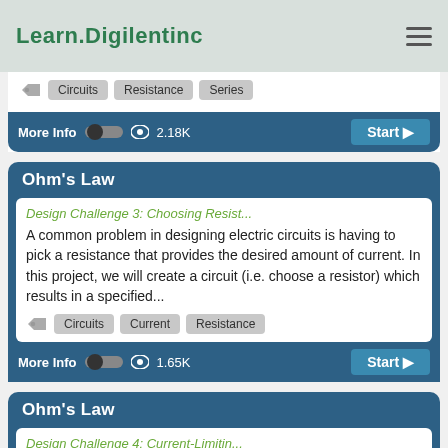Learn.Digilentinc
Circuits  Resistance  Series  More Info  2.18K  Start
Ohm's Law
Design Challenge 3: Choosing Resist...
A common problem in designing electric circuits is having to pick a resistance that provides the desired amount of current. In this project, we will create a circuit (i.e. choose a resistor) which results in a specified...
Circuits  Current  Resistance  More Info  1.65K  Start
Ohm's Law
Design Challenge 4: Current-Limitin...
Resistors in electrical circuits are commonly used to provide other components in the circuit with the voltages and currents they require in order to function properly. For example, in this